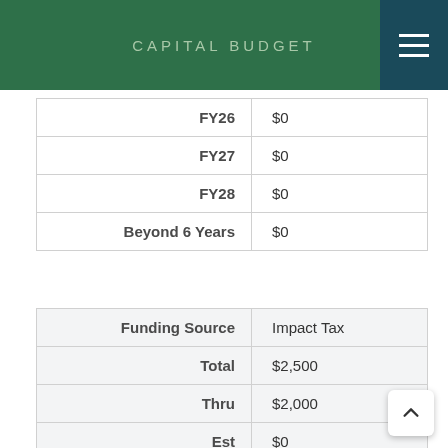CAPITAL BUDGET
| Label | Value |
| --- | --- |
| FY26 | $0 |
| FY27 | $0 |
| FY28 | $0 |
| Beyond 6 Years | $0 |
| Label | Value |
| --- | --- |
| Funding Source | Impact Tax |
| Total | $2,500 |
| Thru | $2,000 |
| Est | $0 |
| Total 6 Years | $500 |